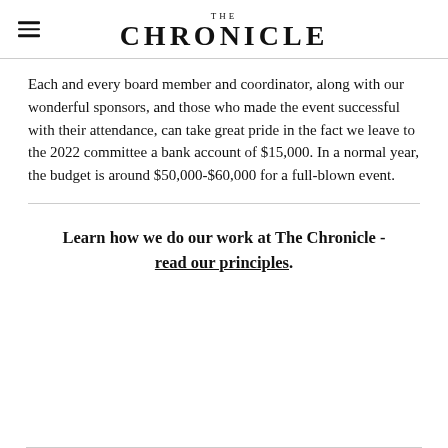THE CHRONICLE
Each and every board member and coordinator, along with our wonderful sponsors, and those who made the event successful with their attendance, can take great pride in the fact we leave to the 2022 committee a bank account of $15,000. In a normal year, the budget is around $50,000-$60,000 for a full-blown event.
Learn how we do our work at The Chronicle - read our principles.